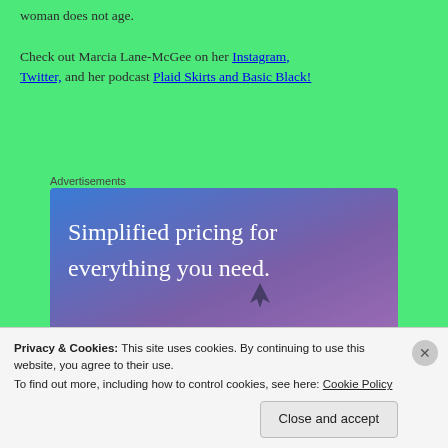woman does not age. Check out Marcia Lane-McGee on her Instagram, Twitter, and her podcast Plaid Skirts and Basic Black!
Advertisements
[Figure (other): Advertisement banner with gradient blue-to-purple background and white text reading 'Simplified pricing for everything you need.']
Privacy & Cookies: This site uses cookies. By continuing to use this website, you agree to their use. To find out more, including how to control cookies, see here: Cookie Policy
Close and accept